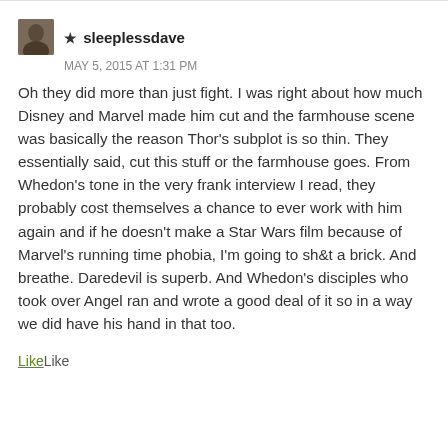★ sleeplessdave
MAY 5, 2015 AT 1:31 PM
Oh they did more than just fight. I was right about how much Disney and Marvel made him cut and the farmhouse scene was basically the reason Thor's subplot is so thin. They essentially said, cut this stuff or the farmhouse goes. From Whedon's tone in the very frank interview I read, they probably cost themselves a chance to ever work with him again and if he doesn't make a Star Wars film because of Marvel's running time phobia, I'm going to sh&t a brick. And breathe. Daredevil is superb. And Whedon's disciples who took over Angel ran and wrote a good deal of it so in a way we did have his hand in that too.
LikeLike